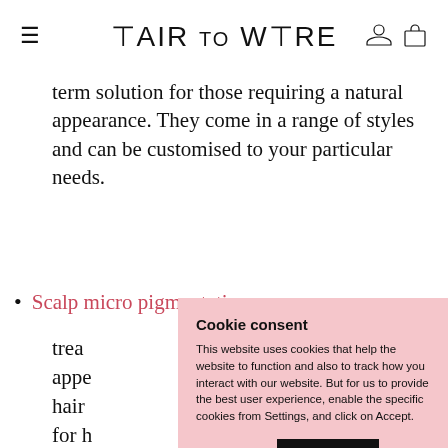HAIR TO WARE
term solution for those requiring a natural appearance. They come in a range of styles and can be customised to your particular needs.
Scalp micro pigmentation treat... appe... hair ... for h...
Hair ... and ... your... desi... designed to create a bespoke/
Cookie consent
This website uses cookies that help the website to function and also to track how you interact with our website. But for us to provide the best user experience, enable the specific cookies from Settings, and click on Accept.
Preferences   Accept All